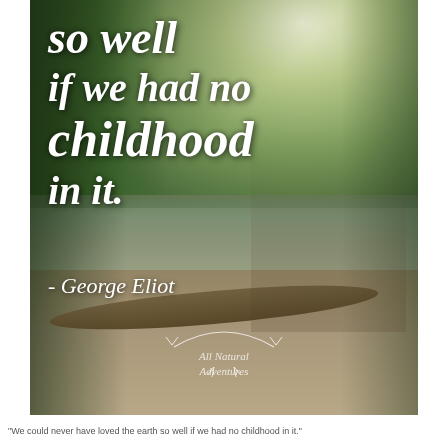[Figure (photo): Outdoor nature scene with two children playing near a creek or stream in a wooded area. One child in an orange shirt stands while another child in teal/blue bends down near a fallen log. Lush green trees surround the scene with dappled sunlight. A quote overlays the image in white italic text: 'so well if we had no childhood in it.' with attribution '- George Eliot'. A watermark reads 'All Natural Adventures' with a decorative arch design.]
"We could never have loved the earth so well if we had no childhood in it."